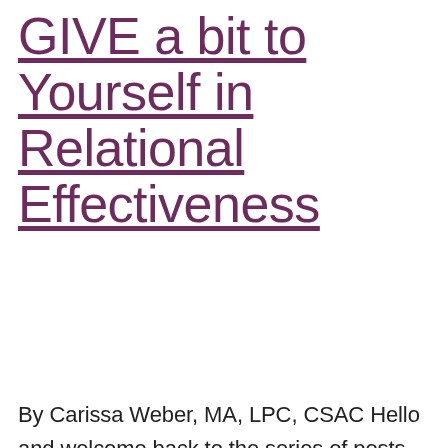GIVE a bit to Yourself in Relational Effectiveness
By Carissa Weber, MA, LPC, CSAC Hello and welcome back to the series of posts on interpersonal effectiveness skills. Today, were talking about a very important part of interpersonal effectiveness: relational effectiveness. What is relational effectiveness? I'm happy you asked! Let's start exploring how we use relational effectiveness every day in our lives. Missed out [...]